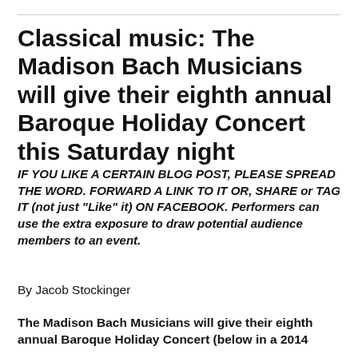Classical music: The Madison Bach Musicians will give their eighth annual Baroque Holiday Concert this Saturday night
IF YOU LIKE A CERTAIN BLOG POST, PLEASE SPREAD THE WORD. FORWARD A LINK TO IT OR, SHARE or TAG IT (not just “Like” it) ON FACEBOOK. Performers can use the extra exposure to draw potential audience members to an event.
By Jacob Stockinger
The Madison Bach Musicians will give their eighth annual Baroque Holiday Concert (below in a 2014